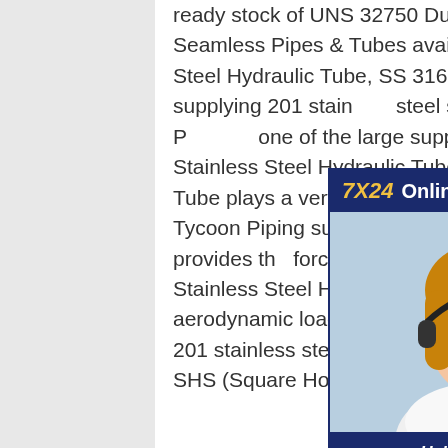ready stock of UNS 32750 Dupex Stainless Steel Seamless Pipes & Tubes available at best price. Stainless Steel Hydraulic Tube, SS 316 Seamless Hydraulic well supplying 201 stainless steel seamless pipe tubeTycoon Piping is one of the large suppliers for high Stainless Steel Hydraulic Tubes.Stainless Steel Hydraulic Tube plays a very important role in Hydraulic Systems.Tycoon Piping supplies high quality hydraulic tubes which provides the force required to move large control surfaces. Stainless Steel Hydraulic tube also bear heavy aerodynamic loads and are critical to the well supplying 201 stainless steel seamless pipe tube Stainless Steel 316 SHS (Square Hollow Section) Pipes well supplying 201
[Figure (other): Chat widget showing '7X24 Online' header in dark blue with gold and white text, a photo of a smiling woman wearing a headset, and a footer with 'Hello, may I help you?' text and a 'Get Latest Price' yellow button.]